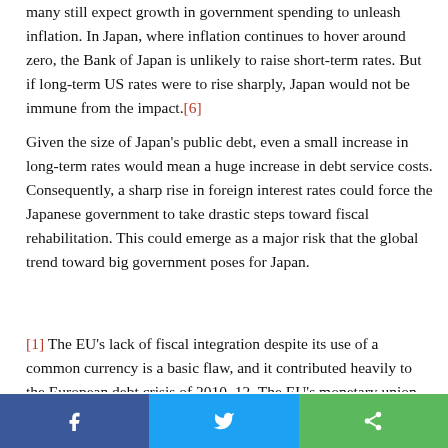many still expect growth in government spending to unleash inflation. In Japan, where inflation continues to hover around zero, the Bank of Japan is unlikely to raise short-term rates. But if long-term US rates were to rise sharply, Japan would not be immune from the impact.[6]
Given the size of Japan's public debt, even a small increase in long-term rates would mean a huge increase in debt service costs. Consequently, a sharp rise in foreign interest rates could force the Japanese government to take drastic steps toward fiscal rehabilitation. This could emerge as a major risk that the global trend toward big government poses for Japan.
[1] The EU's lack of fiscal integration despite its use of a common currency is a basic flaw, and it contributed heavily to the European debt crisis of 2010–12. The EU's monetary union